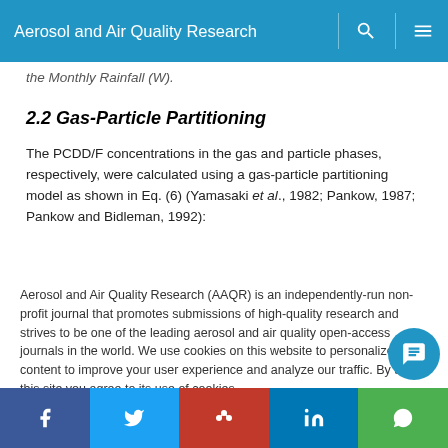Aerosol and Air Quality Research
the Monthly Rainfall (W).
2.2 Gas-Particle Partitioning
The PCDD/F concentrations in the gas and particle phases, respectively, were calculated using a gas-particle partitioning model as shown in Eq. (6) (Yamasaki et al., 1982; Pankow, 1987; Pankow and Bidleman, 1992):
Aerosol and Air Quality Research (AAQR) is an independently-run non-profit journal that promotes submissions of high-quality research and strives to be one of the leading aerosol and air quality open-access journals in the world. We use cookies on this website to personalize content to improve your user experience and analyze our traffic. By using this site you agree to its use of cookies.